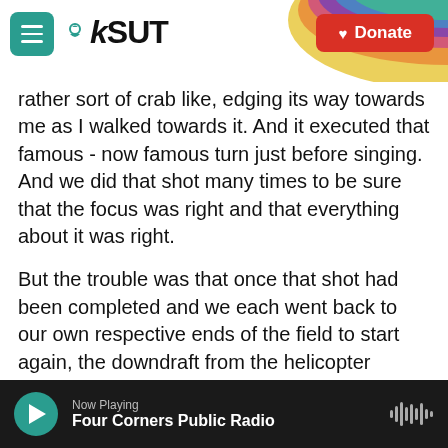KSUT - Donate
rather sort of crab like, edging its way towards me as I walked towards it. And it executed that famous - now famous turn just before singing. And we did that shot many times to be sure that the focus was right and that everything about it was right.
But the trouble was that once that shot had been completed and we each went back to our own respective ends of the field to start again, the downdraft from the helicopter circling around me dashed me off my feet and into the grass. It was so strong. Now, this is fine for, you know, one or two takes, but after about four or five takes, I began to
Now Playing
Four Corners Public Radio